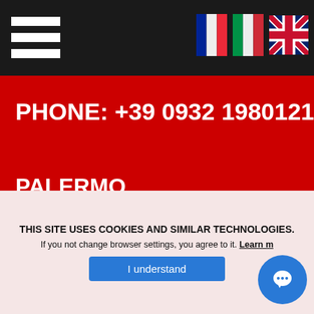[Figure (screenshot): Navigation bar with hamburger menu and flag icons (French, Italian, UK)]
PHONE: +39 0932 1980121
PALERMO
PHONE: +39 091 8400182
SIRACUSA
PHONE: +39 0931 1900037
MILANO MALPENSA
THIS SITE USES COOKIES AND SIMILAR TECHNOLOGIES.
If you not change browser settings, you agree to it. Learn m...
I understand